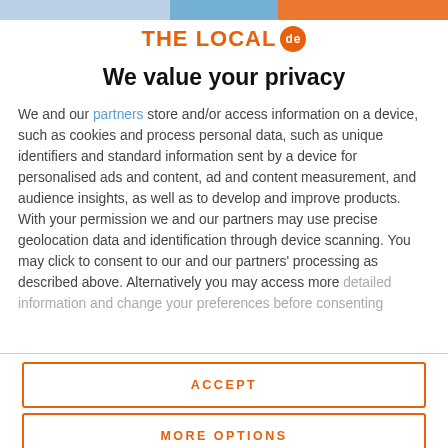[Figure (logo): THE LOCAL de logo in orange with circular badge]
We value your privacy
We and our partners store and/or access information on a device, such as cookies and process personal data, such as unique identifiers and standard information sent by a device for personalised ads and content, ad and content measurement, and audience insights, as well as to develop and improve products. With your permission we and our partners may use precise geolocation data and identification through device scanning. You may click to consent to our and our partners' processing as described above. Alternatively you may access more detailed information and change your preferences before consenting
ACCEPT
MORE OPTIONS
to China, warning that travellers could be placed